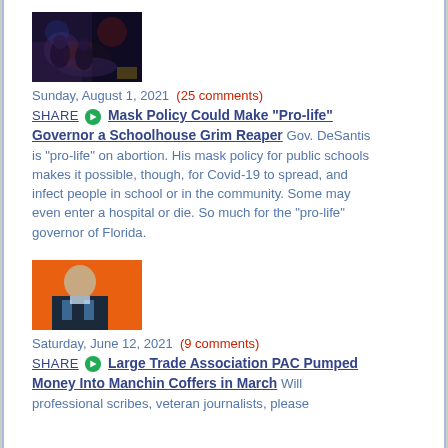[Figure (photo): Dark image showing people at an event with blue/red lighting]
Sunday, August 1, 2021 (25 comments)
SHARE Mask Policy Could Make "Pro-life" Governor a Schoolhouse Grim Reaper Gov. DeSantis is "pro-life" on abortion. His mask policy for public schools makes it possible, though, for Covid-19 to spread, and infect people in school or in the community. Some may even enter a hospital or die. So much for the "pro-life" governor of Florida.
[Figure (photo): Man in suit against orange background]
Saturday, June 12, 2021 (9 comments)
SHARE Large Trade Association PAC Pumped Money Into Manchin Coffers in March Will professional scribes, veteran journalists, please